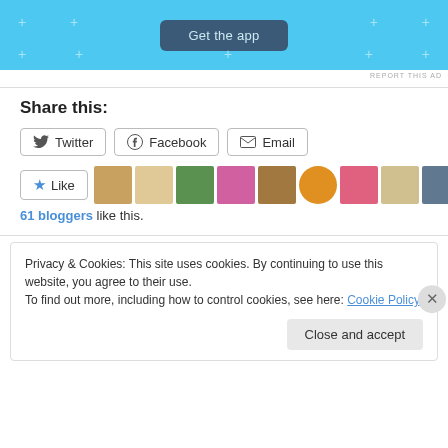[Figure (screenshot): Blue app advertisement banner with 'Get the app' button and plus signs decoration]
REPORT THIS AD
Share this:
Twitter | Facebook | Email share buttons
[Figure (screenshot): Like button with star icon followed by a row of blogger avatar profile pictures]
61 bloggers like this.
Privacy & Cookies: This site uses cookies. By continuing to use this website, you agree to their use. To find out more, including how to control cookies, see here: Cookie Policy